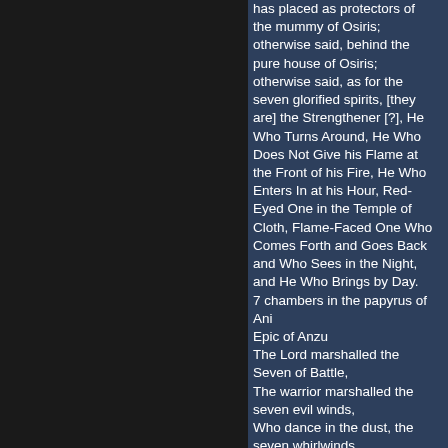has placed as protectors of the mummy of Osiris; otherwise said, behind the pure house of Osiris; otherwise said, as for the seven glorified spirits, [they are] the Strengthener [?], He Who Turns Around, He Who Does Not Give his Flame at the Front of his Fire, He Who Enters In at his Hour, Red-Eyed One in the Temple of Cloth, Flame-Faced One Who Comes Forth and Goes Back and Who Sees in the Night, and He Who Brings by Day.
7 chambers in the papyrus of Ani
Epic of Anzu
The Lord marshalled the Seven of Battle,
The warrior marshalled the seven evil winds,
Who dance in the dust, the seven whirlwinds

The Sumerian myth "The Descent of Inanna into the Nether World" and the later